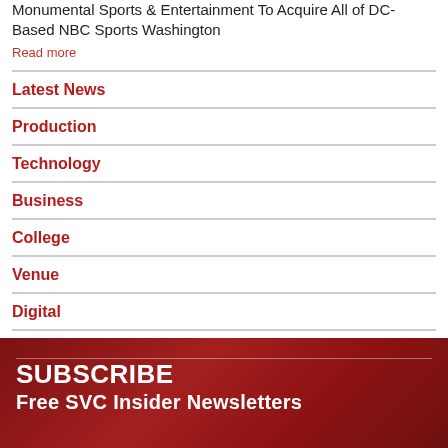Monumental Sports & Entertainment To Acquire All of DC-Based NBC Sports Washington
Read more
Latest News
Production
Technology
Business
College
Venue
Digital
All News
[Figure (other): Dark red banner with text SUBSCRIBE Free SVC Insider Newsletters]